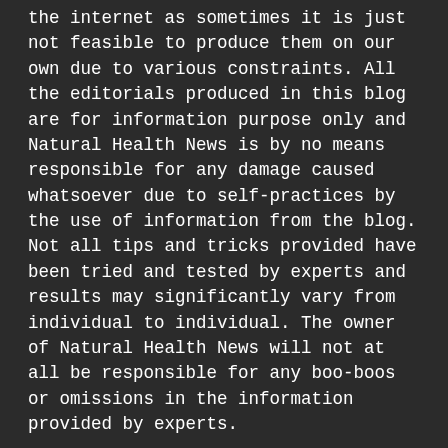the internet as sometimes it is just not feasible to produce them on our own due to various constraints. All the editorials produced in this blog are for information purpose only and Natural Health News is by no means responsible for any damage caused whatsoever due to self-practices by the use of information from the blog. Not all tips and tricks provided have been tried and tested by experts and results may significantly vary from individual to individual. The owner of Natural Health News will not at all be responsible for any boo-boos or omissions in the information provided by experts.
© 2021 Natural Health News - Powered by SkyHost.